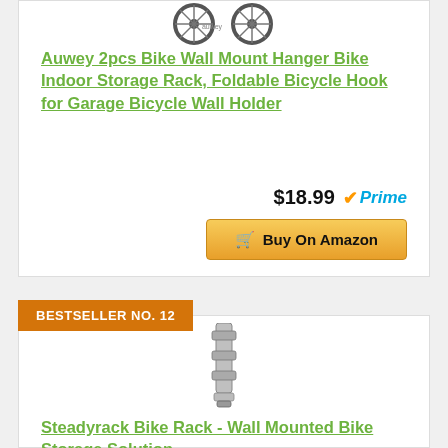[Figure (photo): Bicycle wheel hooks/hangers product image at top of card]
Auwey 2pcs Bike Wall Mount Hanger Bike Indoor Storage Rack, Foldable Bicycle Hook for Garage Bicycle Wall Holder
$18.99 Prime
Buy On Amazon
BESTSELLER NO. 12
[Figure (photo): Steadyrack wall mounted bike storage rack product image]
Steadyrack Bike Rack - Wall Mounted Bike Storage Solution